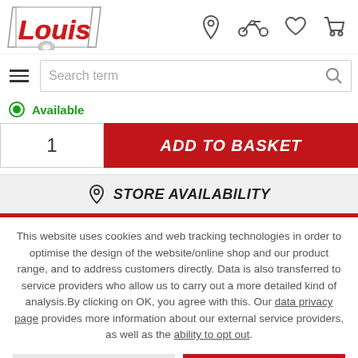[Figure (logo): Louis motorcycle shop logo with red italic text and diagonal slash borders]
Search term
Available
1
ADD TO BASKET
STORE AVAILABILITY
This website uses cookies and web tracking technologies in order to optimise the design of the website/online shop and our product range, and to address customers directly. Data is also transferred to service providers who allow us to carry out a more detailed kind of analysis.By clicking on OK, you agree with this. Our data privacy page provides more information about our external service providers, as well as the ability to opt out.
DECLINE
OK